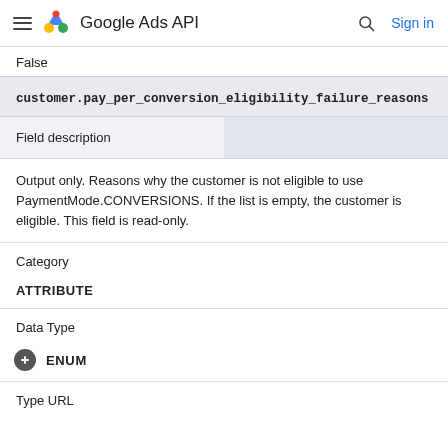Google Ads API
False
| customer.pay_per_conversion_eligibility_failure_reasons |  |
| --- | --- |
| Field description |  |
| Output only. Reasons why the customer is not eligible to use PaymentMode.CONVERSIONS. If the list is empty, the customer is eligible. This field is read-only. |  |
| Category |  |
|  | ATTRIBUTE |
| Data Type |  |
|  | ENUM |
| Type URL |  |